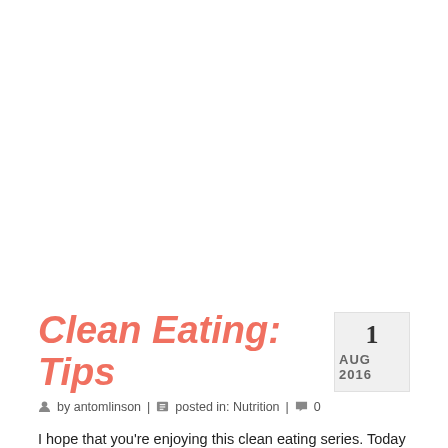Clean Eating: Tips
1 AUG 2016
by antomlinson | posted in: Nutrition | 0
I hope that you're enjoying this clean eating series. Today I would like to just give you a list of tips to think about while